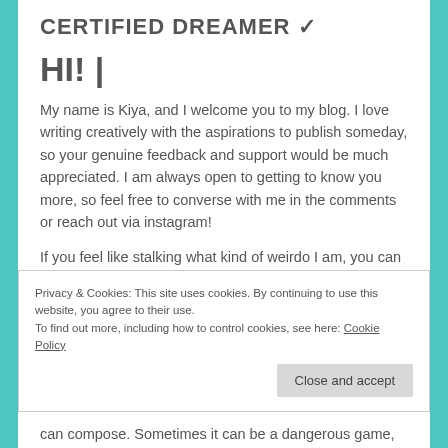CERTIFIED DREAMER ✓
HI! |
My name is Kiya, and I welcome you to my blog. I love writing creatively with the aspirations to publish someday, so your genuine feedback and support would be much appreciated. I am always open to getting to know you more, so feel free to converse with me in the comments or reach out via instagram!
If you feel like stalking what kind of weirdo I am, you can do so here.
Privacy & Cookies: This site uses cookies. By continuing to use this website, you agree to their use.
To find out more, including how to control cookies, see here: Cookie Policy
can compose. Sometimes it can be a dangerous game,